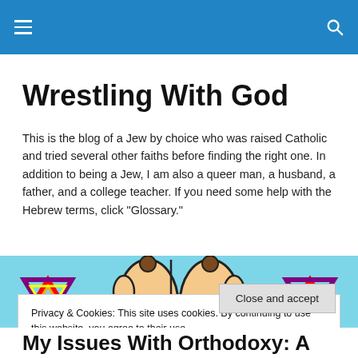Wrestling With God [navigation bar with hamburger menu and search icon]
Wrestling With God
This is the blog of a Jew by choice who was raised Catholic and tried several other faiths before finding the right one. In addition to being a Jew, I am also a queer man, a husband, a father, and a college teacher. If you need some help with the Hebrew terms, click "Glossary."
[Figure (illustration): Colorful cartoon illustration on a light blue background showing rainbow-colored Stars of David and a pair of hands giving a priestly blessing gesture]
Privacy & Cookies: This site uses cookies. By continuing to use this website, you agree to their use.
To find out more, including how to control cookies, see here: Cookie Policy
Close and accept
My Issues With Orthodoxy: A